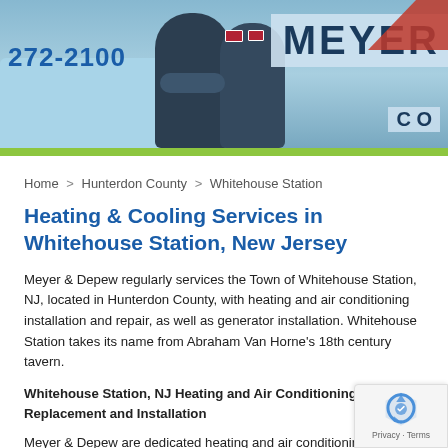[Figure (photo): Two workers in blue uniforms standing in front of a Meyer & Co company van. Phone number 272-2100 visible on van. MEYER text visible on right side.]
Home > Hunterdon County > Whitehouse Station
Heating & Cooling Services in Whitehouse Station, New Jersey
Meyer & Depew regularly services the Town of Whitehouse Station, NJ, located in Hunterdon County, with heating and air conditioning installation and repair, as well as generator installation. Whitehouse Station takes its name from Abraham Van Horne's 18th century tavern.
Whitehouse Station, NJ Heating and Air Conditioning Repair, Replacement and Installation
Meyer & Depew are dedicated heating and air conditioning contractors operating daily in Whitehouse Station, NJ. We have been helping and business based in Whitehouse Station with all of their heating conditioning needs for over half a century. With generations of t behind us, you can be assured that your heating and air conditioning